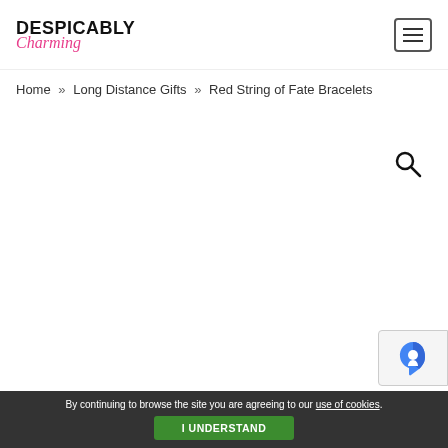DESPICABLY Charming
Home » Long Distance Gifts » Red String of Fate Bracelets
[Figure (other): Search icon (magnifying glass)]
[Figure (other): reCAPTCHA badge]
By continuing to browse the site you are agreeing to our use of cookies. I UNDERSTAND